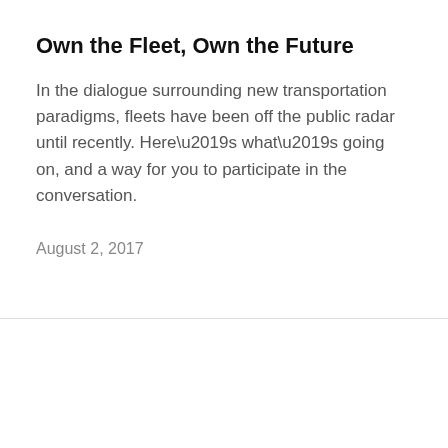Own the Fleet, Own the Future
In the dialogue surrounding new transportation paradigms, fleets have been off the public radar until recently. Here’s what’s going on, and a way for you to participate in the conversation.
August 2, 2017